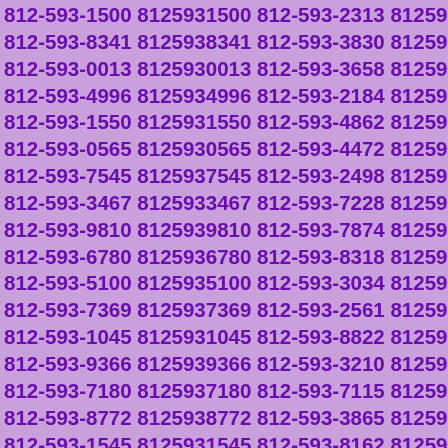812-593-1500 8125931500 812-593-2313 8125932313 812-593-8341 8125938341 812-593-3830 8125933830 812-593-0013 8125930013 812-593-3658 8125933658 812-593-4996 8125934996 812-593-2184 8125932184 812-593-1550 8125931550 812-593-4862 8125934862 812-593-0565 8125930565 812-593-4472 8125934472 812-593-7545 8125937545 812-593-2498 8125932498 812-593-3467 8125933467 812-593-7228 8125937228 812-593-9810 8125939810 812-593-7874 8125937874 812-593-6780 8125936780 812-593-8318 8125938318 812-593-5100 8125935100 812-593-3034 8125933034 812-593-7369 8125937369 812-593-2561 8125932561 812-593-1045 8125931045 812-593-8822 8125938822 812-593-9366 8125939366 812-593-3210 8125933210 812-593-7180 8125937180 812-593-7115 8125937115 812-593-8772 8125938772 812-593-3865 8125933865 812-593-1545 8125931545 812-593-8162 8125938162 812-593-3749 8125933749 812-593-3346 8125933346 812-593-1981 8125931981 812-593-3938 8125933938 812-593-1268 8125931268 812-593-7212 8125937212 812-593-8595 8125938595 812-593-1086 8125931086